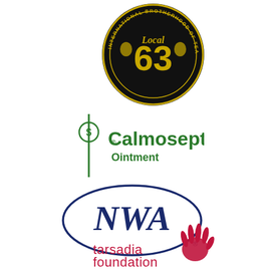[Figure (logo): International Brotherhood of Teamsters Local 63 circular logo with black background and gold '63' text]
[Figure (logo): Calmoseptine Ointment logo in green with stylized S symbol]
[Figure (logo): NWA logo in dark navy blue text inside an oval border with registered trademark symbol]
[Figure (logo): Tarsadia Foundation logo with red hand illustration]